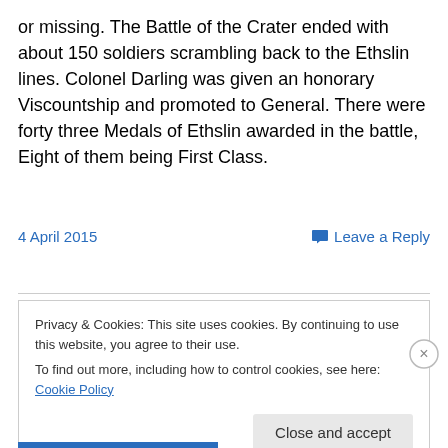or missing. The Battle of the Crater ended with about 150 soldiers scrambling back to the Ethslin lines. Colonel Darling was given an honorary Viscountship and promoted to General. There were forty three Medals of Ethslin awarded in the battle, Eight of them being First Class.
4 April 2015  Leave a Reply
Privacy & Cookies: This site uses cookies. By continuing to use this website, you agree to their use.
To find out more, including how to control cookies, see here: Cookie Policy